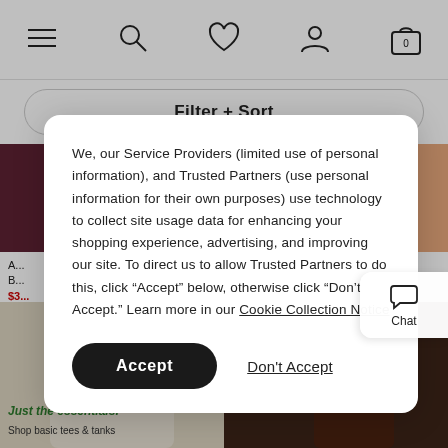Navigation bar with menu, search, wishlist, account, and bag (0 items) icons
Filter + Sort
[Figure (photo): Two product photos side by side: left shows a dark burgundy/maroon skirt outfit, right shows a peach/orange draped top outfit]
A... B... $3...
Oversized
[Figure (photo): Two product photos side by side: left shows a cream/beige knit sweater with 'Just the essentials.' text overlay, right shows a dark brown top on a model]
Just the essentials.
Shop basic tees & tanks
We, our Service Providers (limited use of personal information), and Trusted Partners (use personal information for their own purposes) use technology to collect site usage data for enhancing your shopping experience, advertising, and improving our site. To direct us to allow Trusted Partners to do this, click “Accept” below, otherwise click “Don’t Accept.” Learn more in our Cookie Collection Notice
Accept
Don't Accept